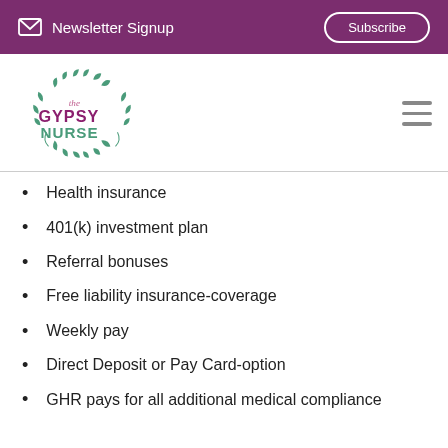Newsletter Signup  Subscribe
[Figure (logo): The Gypsy Nurse logo with laurel wreath and teal/pink text]
Health insurance
401(k) investment plan
Referral bonuses
Free liability insurance-coverage
Weekly pay
Direct Deposit or Pay Card-option
GHR pays for all additional medical compliance